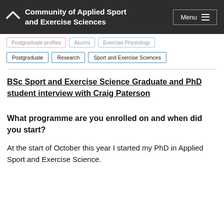Community of Applied Sport and Exercise Sciences
Postgraduate profiles | Alumni | Exercise Physiology
Postgraduate | Research | Sport and Exercise Sciences
BSc Sport and Exercise Science Graduate and PhD student interview with Craig Paterson
What programme are you enrolled on and when did you start?
At the start of October this year I started my PhD in Applied Sport and Exercise Science.